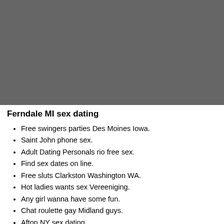[Figure (other): Gray rectangular image block occupying the top portion of the page]
Ferndale MI sex dating
Free swingers parties Des Moines Iowa.
Saint John phone sex.
Adult Dating Personals rio free sex.
Find sex dates on line.
Free sluts Clarkston Washington WA.
Hot ladies wants sex Vereeniging.
Any girl wanna have some fun.
Chat roulette gay Midland guys.
Afton NY sex dating.
Helmsburg IN milf personals.
Kentucky free adult travel.